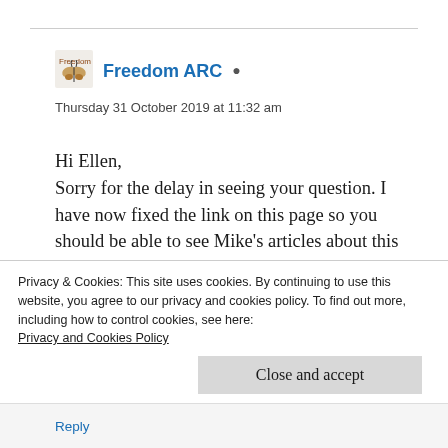[Figure (logo): Freedom ARC butterfly logo avatar]
Freedom ARC
Thursday 31 October 2019 at 11:32 am
Hi Ellen,
Sorry for the delay in seeing your question. I have now fixed the link on this page so you should be able to see Mike's articles about this topic at https://freedomarc.blog/the-restoration-of-all-things-blog-series/
Privacy & Cookies: This site uses cookies. By continuing to use this website, you agree to our privacy and cookies policy. To find out more, including how to control cookies, see here: Privacy and Cookies Policy
Close and accept
Reply